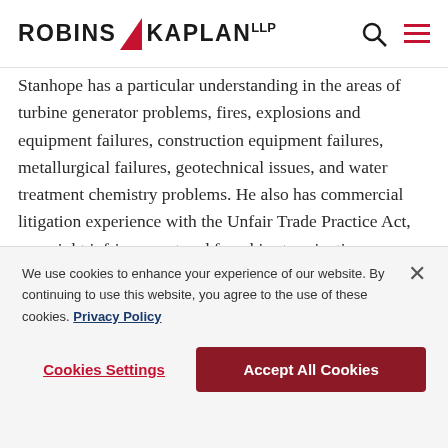ROBINS KAPLAN LLP
Stanhope has a particular understanding in the areas of turbine generator problems, fires, explosions and equipment failures, construction equipment failures, metallurgical failures, geotechnical issues, and water treatment chemistry problems. He also has commercial litigation experience with the Unfair Trade Practice Act, copyright infringement and franchise termination cases. Mr. Stanhope has
We use cookies to enhance your experience of our website. By continuing to use this website, you agree to the use of these cookies. Privacy Policy
Cookies Settings   Accept All Cookies